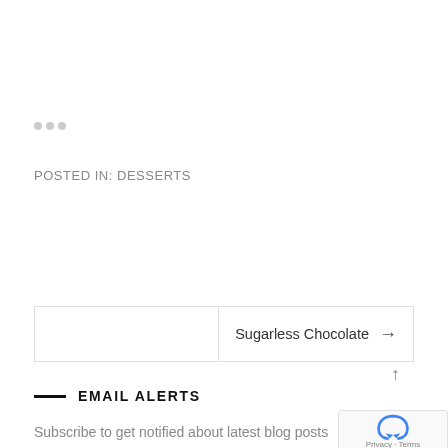POSTED IN: DESSERTS
Sugarless Chocolate →
— EMAIL ALERTS
Subscribe to get notified about latest blog posts